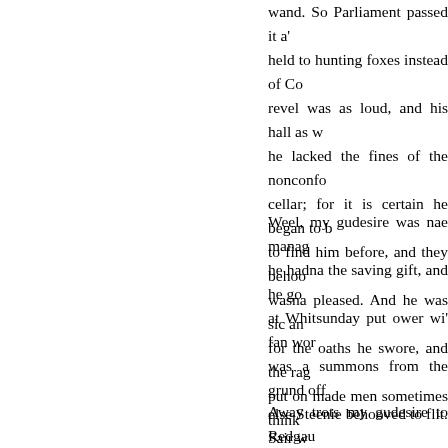wand. So Parliament passed it a' held to hunting foxes instead of Co revel was as loud, and his hall as w he lacked the fines of the nonconfo cellar; for it is certain he began to b to find him before, and they behoo wasna pleased. And he was sic an for the oaths he swore, and the rag put on made men sometimes think
Weel, my gudesire was nae manag he hadna the saving gift, and he go at Whitsunday put ower wi' fan wor was a summons from the grund off else Steenie behooved to flit. Sair w freended, and at last he got the ha: maist of it was from a neighbor the wealth o' gear, could hunt wi' the h saunt or sinner, as the wind stood. he liked an orra sough of this warlo time; and, bune a', he thought he h ower the stocking at Primrose Kno
Away trots my gudesire to Redgau glad to be out of the laird's danger. that Sir Robert had fretted himsell i